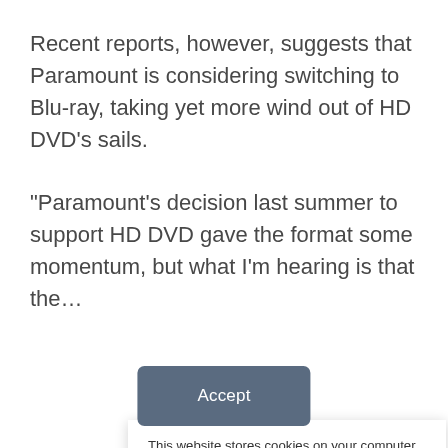Recent reports, however, suggests that Paramount is considering switching to Blu-ray, taking yet more wind out of HD DVD's sails.

“Paramount’s decision last summer to support HD DVD gave the format some momentum, but what I’m hearing is that the…
This website stores cookies on your computer. These cookies are used to collect information about how you interact with our website and allow us to remember you. We use this information in order to improve and customize your browsing experience and for analytics and metrics about our visitors both on this website and other media. To find out more about the cookies we use, see our Privacy Policy. California residents have the right to direct us not to sell their personal information to third parties by filing an Opt-Out Request: Do Not Sell My Personal Info.
Accept